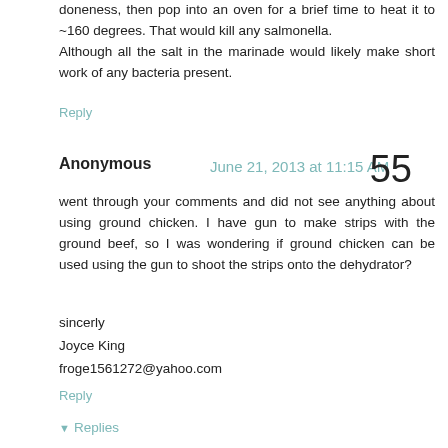doneness, then pop into an oven for a brief time to heat it to ~160 degrees. That would kill any salmonella.
Although all the salt in the marinade would likely make short work of any bacteria present.
Reply
Anonymous   June 21, 2013 at 11:15 AM
55
went through your comments and did not see anything about using ground chicken. I have gun to make strips with the ground beef, so I was wondering if ground chicken can be used using the gun to shoot the strips onto the dehydrator?
sincerly
Joyce King
froge1561272@yahoo.com
Reply
Replies